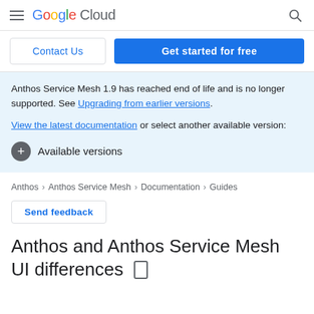Google Cloud
Contact Us | Get started for free
Anthos Service Mesh 1.9 has reached end of life and is no longer supported. See Upgrading from earlier versions.

View the latest documentation or select another available version:

+ Available versions
Anthos > Anthos Service Mesh > Documentation > Guides
Send feedback
Anthos and Anthos Service Mesh UI differences